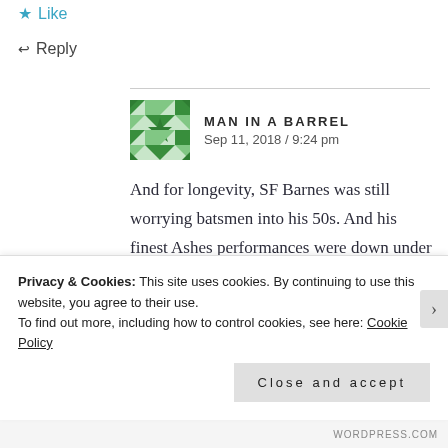Like
Reply
MAN IN A BARREL
Sep 11, 2018 / 9:24 pm
And for longevity, SF Barnes was still worrying batsmen into his 50s. And his finest Ashes performances were down under when he was 38. And he earned his living as a clerk and sign – writer, ie bowling as a side line. And he bowled many more overs than
Privacy & Cookies: This site uses cookies. By continuing to use this website, you agree to their use.
To find out more, including how to control cookies, see here: Cookie Policy
Close and accept
WORDPRESS.COM